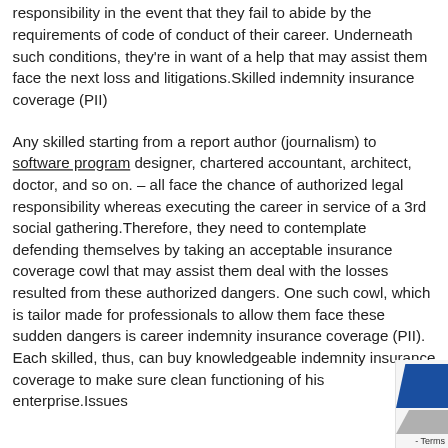responsibility in the event that they fail to abide by the requirements of code of conduct of their career. Underneath such conditions, they're in want of a help that may assist them face the next loss and litigations.Skilled indemnity insurance coverage (PII)
Any skilled starting from a report author (journalism) to software program designer, chartered accountant, architect, doctor, and so on. – all face the chance of authorized legal responsibility whereas executing the career in service of a 3rd social gathering.Therefore, they need to contemplate defending themselves by taking an acceptable insurance coverage cowl that may assist them deal with the losses resulted from these authorized dangers. One such cowl, which is tailor made for professionals to allow them face these sudden dangers is career indemnity insurance coverage (PII). Each skilled, thus, can buy knowledgeable indemnity insurance coverage to make sure clean functioning of his enterprise.Issues